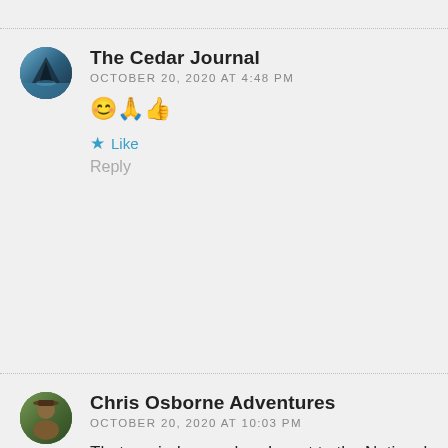The Cedar Journal
OCTOBER 20, 2020 AT 4:48 PM
😊🙏👍
Like
Reply
Chris Osborne Adventures
OCTOBER 20, 2020 AT 10:03 PM
That reminds me when I went to the National history museum how many horse and carts, cows were fished out of the canal.